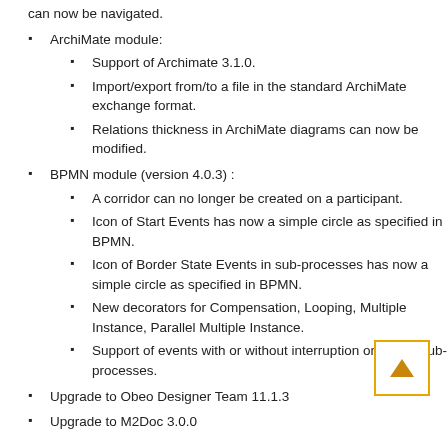can now be navigated.
ArchiMate module:
Support of Archimate 3.1.0.
Import/export from/to a file in the standard ArchiMate exchange format.
Relations thickness in ArchiMate diagrams can now be modified.
BPMN module (version 4.0.3) :
A corridor can no longer be created on a participant.
Icon of Start Events has now a simple circle as specified in BPMN.
Icon of Border State Events in sub-processes has now a simple circle as specified in BPMN.
New decorators for Compensation, Looping, Multiple Instance, Parallel Multiple Instance.
Support of events with or without interruption on active sub-processes.
Upgrade to Obeo Designer Team 11.1.3
Upgrade to M2Doc 3.0.0
[Figure (other): Scroll-to-top button with yellow/gold border and upward arrow triangle]